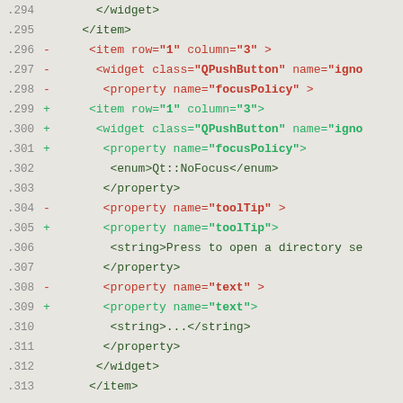Code diff showing XML changes for lines 294-313, including widget and property modifications removing trailing spaces before >
.294     </widget>
.295     </item>
.296 -   <item row="1" column="3" >
.297 -   <widget class="QPushButton" name="igno
.298 -   <property name="focusPolicy" >
.299 +   <item row="1" column="3">
.300 +   <widget class="QPushButton" name="igno
.301 +   <property name="focusPolicy">
.302     <enum>Qt::NoFocus</enum>
.303     </property>
.304 -   <property name="toolTip" >
.305 +   <property name="toolTip">
.306     <string>Press to open a directory se
.307     </property>
.308 -   <property name="text" >
.309 +   <property name="text">
.310     <string>...</string>
.311     </property>
.312     </widget>
.313     </item>